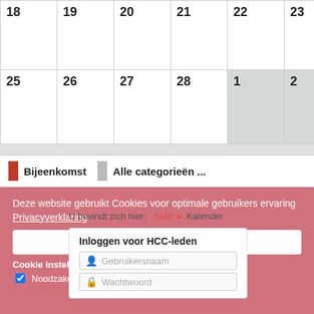|  |  |  |  |  |  |  |
| --- | --- | --- | --- | --- | --- | --- |
| 18 | 19 | 20 | 21 | 22 | 23 | 24 |
| 25 | 26 | 27 | 28 | 1 | 2 | 3 |
Bijeenkomst   Alle categorieën ...
Deze website gebruikt Cookies voor optimale gebruikers ervaring   Privacyverklaring
U bevindt zich hier:  Start  ▶  Kalender
Inloggen voor HCC-leden
Geselecteerde cookies toestaan
Cookie instellingen
☑ Noodzakelijk | ☐ Social Media
Gebruikersnaam
🔒 Wachtwoord